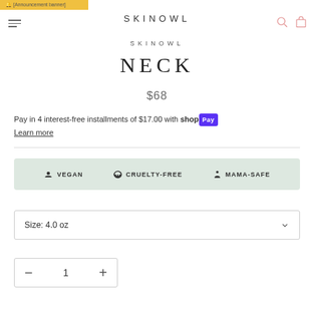SKINOWL
SKINOWL
NECK
$68
Pay in 4 interest-free installments of $17.00 with Shop Pay
Learn more
VEGAN   CRUELTY-FREE   MAMA-SAFE
Size: 4.0 oz
1